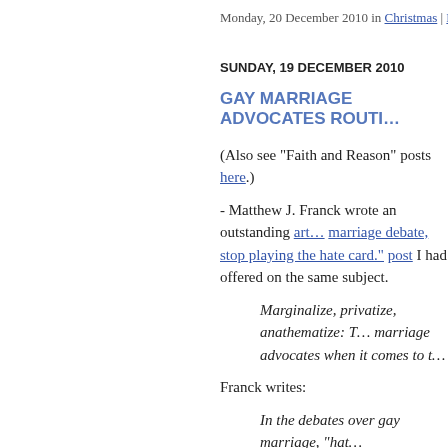Monday, 20 December 2010 in Christmas | Permalink
SUNDAY, 19 DECEMBER 2010
GAY MARRIAGE ADVOCATES ROUTI…
(Also see "Faith and Reason" posts here.)
- Matthew J. Franck wrote an outstanding article "In the marriage debate, stop playing the hate card." See also a post I had offered on the same subject.
Marginalize, privatize, anathematize: The tactics of gay marriage advocates when it comes to t…
Franck writes:
In the debates over gay marriage, "hat…
Some stories from recent months: A rel… university explains in an e-mail to stu… on homosexuality. He is denounced by … from his position. (He is later reinstate… university, a department chairman dem… his department promote an upcoming … denounced to his university's chancello…